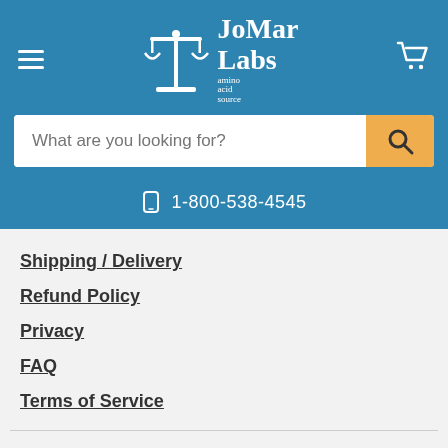[Figure (logo): JoMar Labs logo with scales of justice icon and text 'JoMar Labs amino acid source' on blue header background with hamburger menu and cart icon]
What are you looking for?
1-800-538-4545
Shipping / Delivery
Refund Policy
Privacy
FAQ
Terms of Service
Subscribe